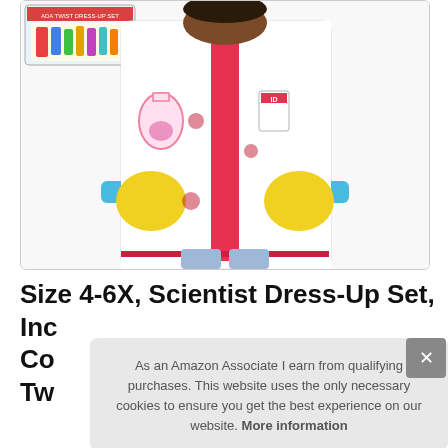[Figure (photo): A child's scientist costume/dress-up set showing a white lab coat with blue cuffs and red dot buttons, worn over a red polka-dot top, with yellow rubber gloves. A product box labeled 'Ada Twist Dress-Up Set' is visible in the top-left corner.]
Size 4-6X, Scientist Dress-Up Set, Inc Co Tw
As an Amazon Associate I earn from qualifying purchases. This website uses the only necessary cookies to ensure you get the best experience on our website. More information